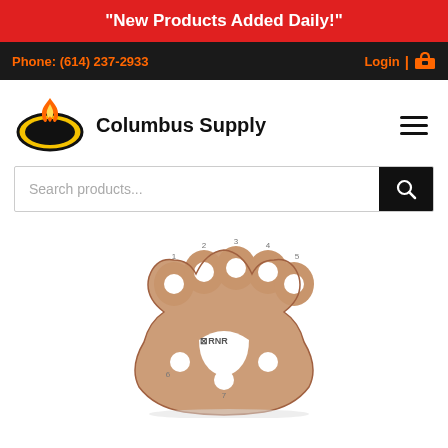"New Products Added Daily!"
Phone: (614) 237-2933
Login
Columbus Supply
[Figure (logo): Columbus Supply flame logo — orange flame above a yellow oval with black background shield shape]
[Figure (photo): RNR copper/rose-gold colored multi-hole rigging plate with paw-shaped cutouts and labeled holes numbered 1-7, with RNR branding]